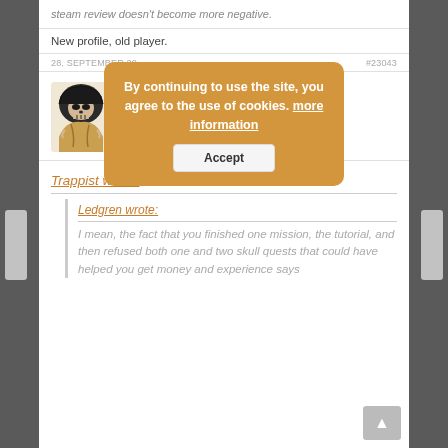steam review doesn't become more negative.
New profile, old player.
28. SEPTEMBER 20... #23043
locl
Participant
[Figure (illustration): Grim reaper skeleton avatar holding a scythe, brown-golden tones]
By continuing to use the site, you agree to the use of cookies. more information
Accept
Trappist wrote:
Ledgren wrote:
I mean, the fact that you finished one mission, the tutorial, and then refused both one and two skull quests that could have helped you get money and experience says